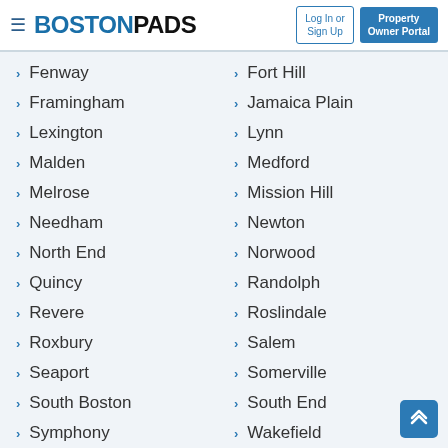BOSTONPADS — Log In or Sign Up | Property Owner Portal
Fenway
Fort Hill
Framingham
Jamaica Plain
Lexington
Lynn
Malden
Medford
Melrose
Mission Hill
Needham
Newton
North End
Norwood
Quincy
Randolph
Revere
Roslindale
Roxbury
Salem
Seaport
Somerville
South Boston
South End
Symphony
Wakefield